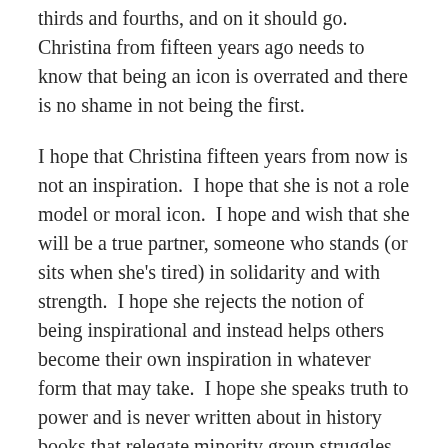thirds and fourths, and on it should go. Christina from fifteen years ago needs to know that being an icon is overrated and there is no shame in not being the first.
I hope that Christina fifteen years from now is not an inspiration. I hope that she is not a role model or moral icon. I hope and wish that she will be a true partner, someone who stands (or sits when she's tired) in solidarity and with strength. I hope she rejects the notion of being inspirational and instead helps others become their own inspiration in whatever form that may take. I hope she speaks truth to power and is never written about in history books that relegate minority group struggles to a paragraph at the end of a chapter. The inspirational figures before and after us deserve better than to be bookends, their lives whittled down to instagrammable quotes and references in well-intentioned speeches about perseverance and diversity.